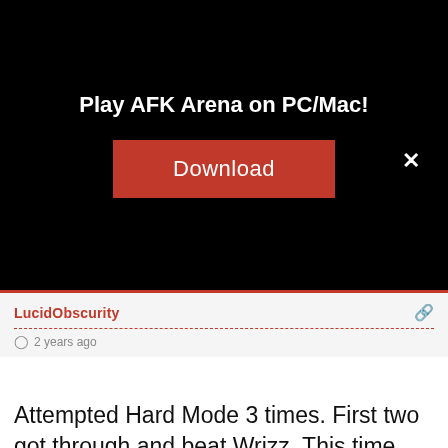Play AFK Arena on PC/Mac!
[Figure (other): Red Download button on black ad banner background]
LucidObscurity
2 years ago
Attempted Hard Mode 3 times. First two got through and beat Wrizz. This time, the first encounter is impossible. If you see Lucius, Nemora & Tasi on the same team…take a different path. I might just avoid HM unless have the spider silk glove from now on, though